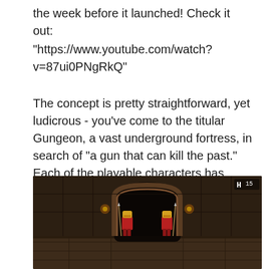the week before it launched! Check it out:
"https://www.youtube.com/watch?v=87ui0PNgRkQ"
The concept is pretty straightforward, yet ludicrous - you've come to the titular Gungeon, a vast underground fortress, in search of "a gun that can kill the past." Each of the playable characters has some sordid history they're trying to erase, and they seek to find this gun to permanently wipe their mistakes.
[Figure (screenshot): Game screenshot from Enter the Gungeon showing two armored guard characters in red standing in front of a stone archway entrance in a dark dungeon environment. A HUD element showing 'H 15' is visible in the top right corner.]